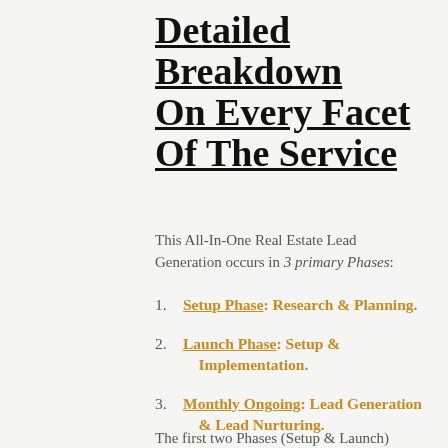Detailed Breakdown On Every Facet Of The Service
This All-In-One Real Estate Lead Generation occurs in 3 primary Phases:
Setup Phase: Research & Planning.
Launch Phase: Setup & Implementation.
Monthly Ongoing: Lead Generation & Lead Nurturing.
The first two Phases (Setup & Launch)